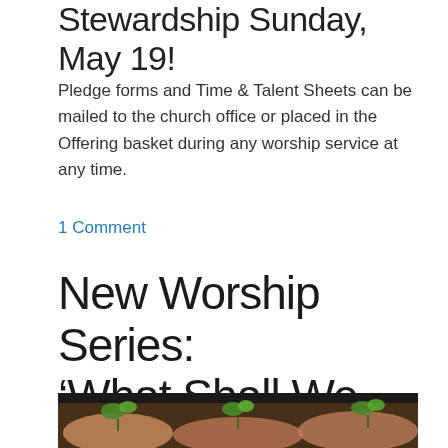Stewardship Sunday, May 19!
Pledge forms and Time & Talent Sheets can be mailed to the church office or placed in the Offering basket during any worship service at any time.
1 Comment
New Worship Series: ‘What Shall We Bring?’
[Figure (photo): Hands holding small green plant seedlings against a dark blurred background]